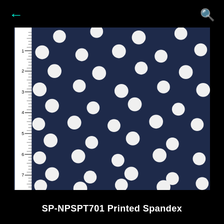[Figure (photo): Navy blue printed spandex fabric with white polka dots, photographed against a white ruler on the left side showing measurements from 1 to 7 inches. The fabric swatch is displayed on a black background.]
SP-NPSPT701 Printed Spandex